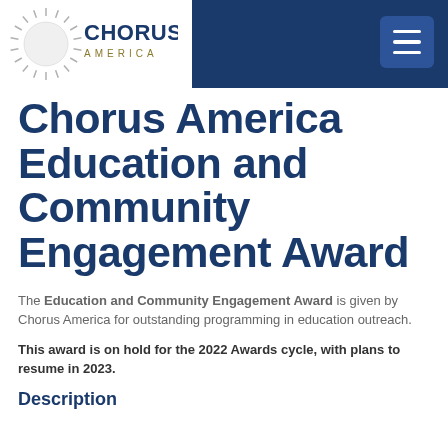[Figure (logo): Chorus America logo: sunburst/radial lines graphic on the left, text 'CHORUS' in bold dark blue and 'AMERICA' in gold/olive spaced letters beneath]
Chorus America Education and Community Engagement Award
The Education and Community Engagement Award is given by Chorus America for outstanding programming in education outreach.
This award is on hold for the 2022 Awards cycle, with plans to resume in 2023.
Description